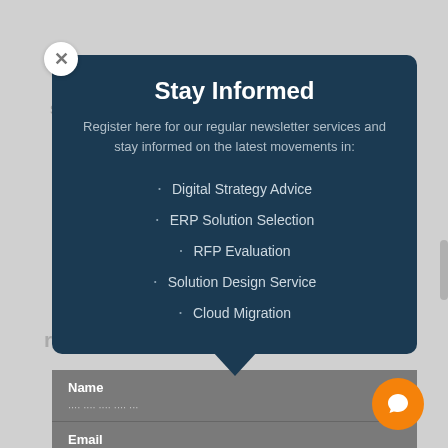Stay Informed
Register here for our regular newsletter services and stay informed on the latest movements in:
Digital Strategy Advice
ERP Solution Selection
RFP Evaluation
Solution Design Service
Cloud Migration
Name
Email